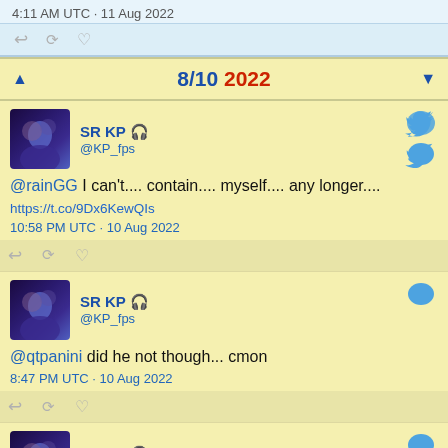4:11 AM UTC · 11 Aug 2022
8/10 2022
SR KP 🎧 @KP_fps
@rainGG I can't.... contain.... myself.... any longer....
https://t.co/9Dx6KewQIs
10:58 PM UTC · 10 Aug 2022
SR KP 🎧 @KP_fps
@qtpanini did he not though... cmon
8:47 PM UTC · 10 Aug 2022
SR KP 🎧 @KP_fps